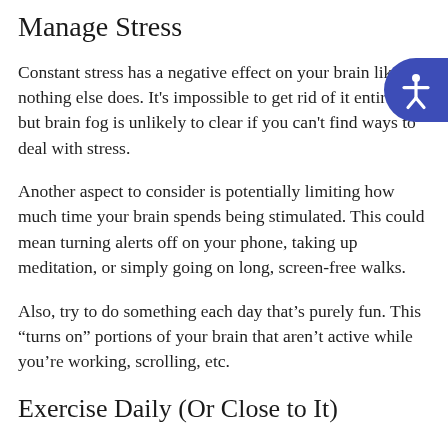Manage Stress
Constant stress has a negative effect on your brain like nothing else does. It's impossible to get rid of it entirely, but brain fog is unlikely to clear if you can't find ways to deal with stress.
Another aspect to consider is potentially limiting how much time your brain spends being stimulated. This could mean turning alerts off on your phone, taking up meditation, or simply going on long, screen-free walks.
Also, try to do something each day that's purely fun. This “turns on” portions of your brain that aren’t active while you’re working, scrolling, etc.
Exercise Daily (Or Close to It)